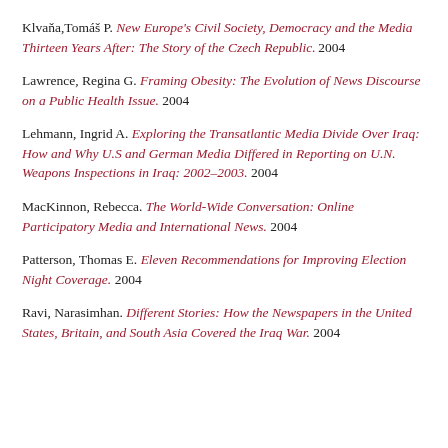Klvaňa,Tomáš P. New Europe's Civil Society, Democracy and the Media Thirteen Years After: The Story of the Czech Republic. 2004
Lawrence, Regina G. Framing Obesity: The Evolution of News Discourse on a Public Health Issue. 2004
Lehmann, Ingrid A. Exploring the Transatlantic Media Divide Over Iraq: How and Why U.S and German Media Differed in Reporting on U.N. Weapons Inspections in Iraq: 2002–2003. 2004
MacKinnon, Rebecca. The World-Wide Conversation: Online Participatory Media and International News. 2004
Patterson, Thomas E. Eleven Recommendations for Improving Election Night Coverage. 2004
Ravi, Narasimhan. Different Stories: How the Newspapers in the United States, Britain, and South Asia Covered the Iraq War. 2004